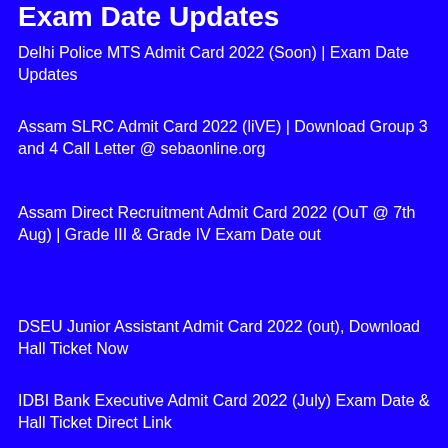Exam Date Updates
Delhi Police MTS Admit Card 2022 (Soon) | Exam Date Updates
Assam SLRC Admit Card 2022 (liVE) | Download Group 3 and 4 Call Letter @ sebaonline.org
Assam Direct Recruitment Admit Card 2022 (OuT @ 7th Aug) | Grade III & Grade IV Exam Date out
DSEU Junior Assistant Admit Card 2022 (out), Download Hall Ticket Now
IDBI Bank Executive Admit Card 2022 (July) Exam Date & Hall Ticket Direct Link